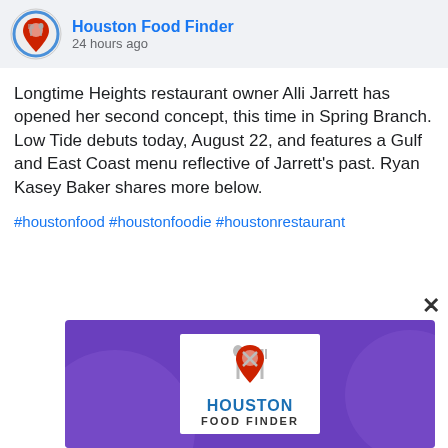Houston Food Finder
24 hours ago
Longtime Heights restaurant owner Alli Jarrett has opened her second concept, this time in Spring Branch. Low Tide debuts today, August 22, and features a Gulf and East Coast menu reflective of Jarrett's past. Ryan Kasey Baker shares more below.
#houstonfood #houstonfoodie #houstonrestaurant
[Figure (logo): Houston Food Finder logo: red map pin with fork and spoon crossed, above text HOUSTON FOOD FINDER in blue, on white background, set against purple background with decorative circles]